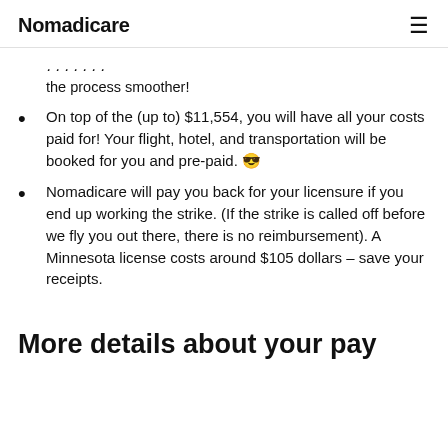Nomadicare
the process smoother!
On top of the (up to) $11,554, you will have all your costs paid for! Your flight, hotel, and transportation will be booked for you and pre-paid. 😎
Nomadicare will pay you back for your licensure if you end up working the strike. (If the strike is called off before we fly you out there, there is no reimbursement). A Minnesota license costs around $105 dollars – save your receipts.
More details about your pay